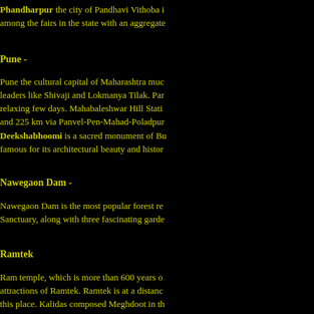Phandharpur the city of Pandhavi Vithoba is among the fairs in the state with an aggregate
Pune -
Pune the cultural capital of Maharashtra much leaders like Shivaji and Lokmanya Tilak. Par relaxing few days. Mahabaleshwar Hill Stati and 225 km via Panvel-Pen-Mahad-Poladpur
Deekshabhoomi is a sacred monument of Bu famous for its architectural beauty and histor
Nawegaon Dam -
Nawegaon Dam is the most popular forest re Sanctuary, along with three fascinating garde
Ramtek
Ram temple, which is more than 600 years o attractions of Ramtek. Ramtek is at a distanc this place. Kalidas composed Meghdoot in th